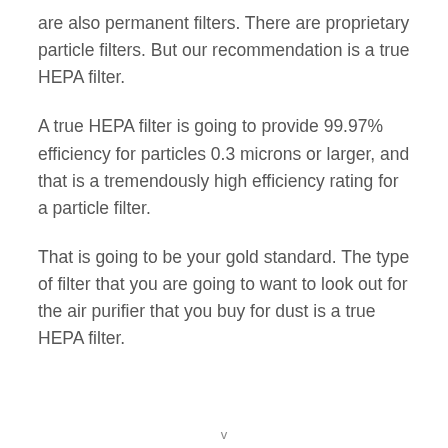are also permanent filters. There are proprietary particle filters. But our recommendation is a true HEPA filter.
A true HEPA filter is going to provide 99.97% efficiency for particles 0.3 microns or larger, and that is a tremendously high efficiency rating for a particle filter.
That is going to be your gold standard. The type of filter that you are going to want to look out for the air purifier that you buy for dust is a true HEPA filter.
v